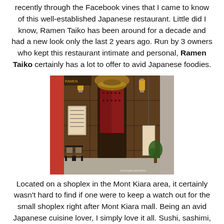recently through the Facebook vines that I came to know of this well-established Japanese restaurant. Little did I know, Ramen Taiko has been around for a decade and had a new look only the last 2 years ago. Run by 3 owners who kept this restaurant intimate and personal, Ramen Taiko certainly has a lot to offer to avid Japanese foodies.
[Figure (photo): Exterior entrance of Ramen Taiko restaurant showing dark wooden facade, lantern lighting, decorative door, chairs outside, and small trees. Watermark reads 'chasingfooddreams'.]
Located on a shoplex in the Mont Kiara area, it certainly wasn't hard to find if one were to keep a watch out for the small shoplex right after Mont Kiara mall. Being an avid Japanese cuisine lover, I simply love it all. Sushi, sashimi, teppanyaki, tempura, ramen and so forth, I am gamed for all Japanese dishes. One evening, our foodie gang